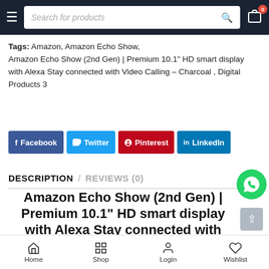Search for products
Tags: Amazon, Amazon Echo Show, Amazon Echo Show (2nd Gen) | Premium 10.1" HD smart display with Alexa Stay connected with Video Calling – Charcoal , Digital Products 3
[Figure (other): Social sharing buttons: Facebook, Twitter, Pinterest, LinkedIn]
DESCRIPTION / REVIEWS (0)
Amazon Echo Show (2nd Gen) | Premium 10.1" HD smart display with Alexa Stay connected with Video Calling – Charcoal
Home  Shop  Login  Wishlist